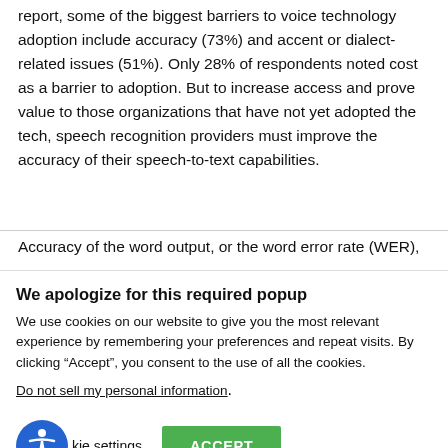report, some of the biggest barriers to voice technology adoption include accuracy (73%) and accent or dialect-related issues (51%). Only 28% of respondents noted cost as a barrier to adoption. But to increase access and prove value to those organizations that have not yet adopted the tech, speech recognition providers must improve the accuracy of their speech-to-text capabilities.
Accuracy of the word output, or the word error rate (WER),
We apologize for this required popup
We use cookies on our website to give you the most relevant experience by remembering your preferences and repeat visits. By clicking “Accept”, you consent to the use of all the cookies.
Do not sell my personal information.
kie settings   ACCEPT